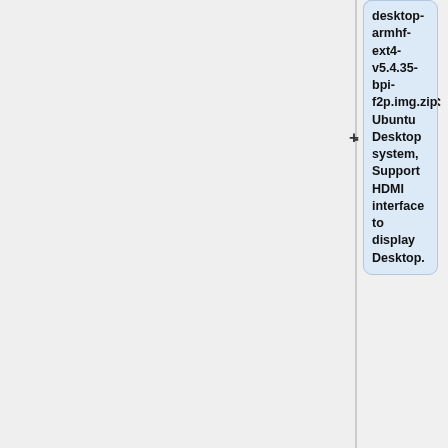desktop-armhf-ext4-v5.4.35-bpi-f2p.img.zip: Ubuntu Desktop system, Support HDMI interface to display Desktop.
::google link :
::baidu link:https://pan.baidu.com/s/14PXSw4z_UGYWpnxhGbZuFg pincode: s895
::2021-06-06-ubuntu-server-20.04.1-armhf-ext4-v5.4.35-bpi-f2p.img.zip